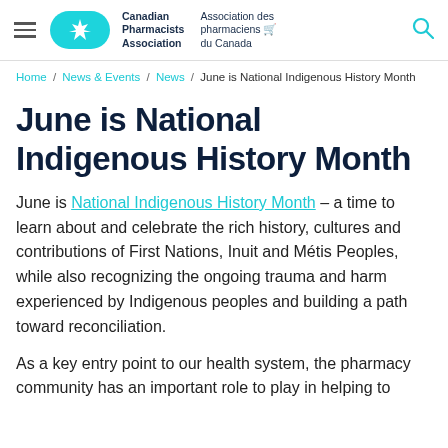Canadian Pharmacists Association / Association des pharmaciens du Canada
Home / News & Events / News / June is National Indigenous History Month
June is National Indigenous History Month
June is National Indigenous History Month – a time to learn about and celebrate the rich history, cultures and contributions of First Nations, Inuit and Métis Peoples, while also recognizing the ongoing trauma and harm experienced by Indigenous peoples and building a path toward reconciliation.
As a key entry point to our health system, the pharmacy community has an important role to play in helping to